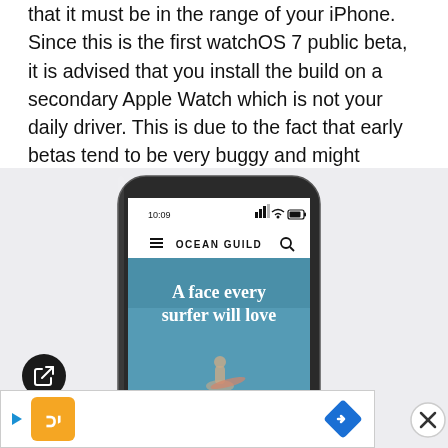that it must be in the range of your iPhone. Since this is the first watchOS 7 public beta, it is advised that you install the build on a secondary Apple Watch which is not your daily driver. This is due to the fact that early betas tend to be very buggy and might interfere with your everyday operations.
[Figure (screenshot): iPhone X screenshot showing Ocean Guild website with headline 'A face every surfer will love' and a surfer image, with a circular share button overlaid on the left side and an ad bar at the bottom.]